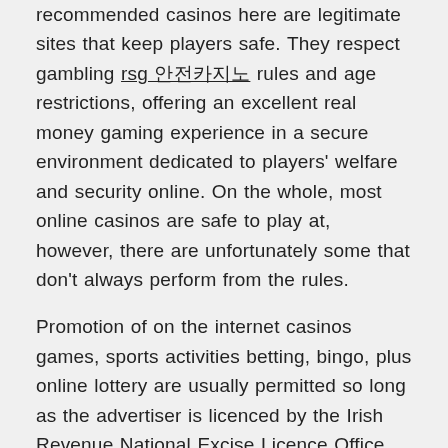recommended casinos here are legitimate sites that keep players safe. They respect gambling rsg 안전카지노 rules and age restrictions, offering an excellent real money gaming experience in a secure environment dedicated to players' welfare and security online. On the whole, most online casinos are safe to play at, however, there are unfortunately some that don't always perform from the rules.
Promotion of on the internet casinos games, sports activities betting, bingo, plus online lottery are usually permitted so long as the advertiser is licenced by the Irish Revenue National Excise Licence Office. Online casino games, wagering, and lottery adverts are permitted supplied advertisers targeting Portugal are licensed with the Autorité de Régulation des Jeux sur internet. A lot regarding people play playing golf, and enthusiasts are incredibly interested in just about all of the significant tournaments that happen around the